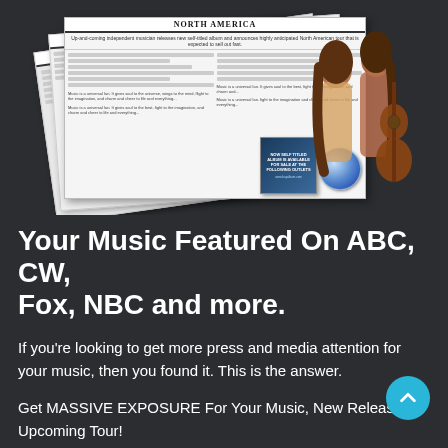[Figure (photo): A stack of newspaper/magazine mockups featuring musicians (two women, one playing guitar), with a CD/album box product shown at the bottom right of the newspapers. The image is a promotional press release mockup showing music media coverage.]
Your Music Featured On ABC, CW, Fox, NBC and more.
If you're looking to get more press and media attention for your music, then you found it. This is the answer.
Get MASSIVE EXPOSURE For Your Music, New Release Or Upcoming Tour!
Here's what you get when you order your press release: